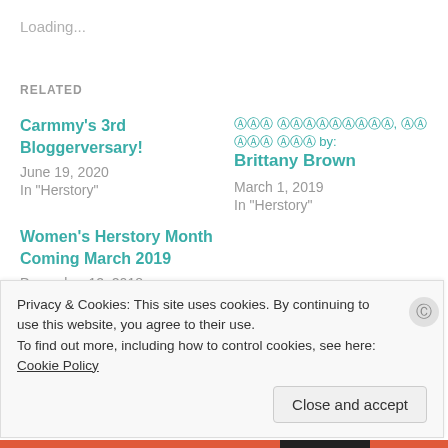Loading...
RELATED
Carmmy's 3rd Bloggerversary!
June 19, 2020
In "Herstory"
[non-latin text] by: Brittany Brown
March 1, 2019
In "Herstory"
Women's Herstory Month Coming March 2019
December 12, 2018
In "Herstory"
Privacy & Cookies: This site uses cookies. By continuing to use this website, you agree to their use.
To find out more, including how to control cookies, see here: Cookie Policy
Close and accept